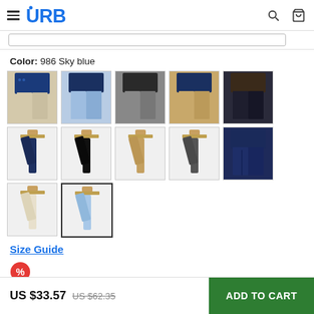URB — navigation header with hamburger menu, logo, search icon, cart icon
Color: 986 Sky blue
[Figure (photo): Grid of 12 pants color variant thumbnails. Row 1: beige/cream pants, sky blue pants, gray pants, khaki pants, dark navy pants. Row 2: navy pants folded, black pants folded, tan/khaki pants folded, dark gray pants folded, dark navy pants standing. Row 3: cream/white pants folded, sky blue pants folded (selected/highlighted).]
Size Guide
US $33.57  US $62.35  ADD TO CART